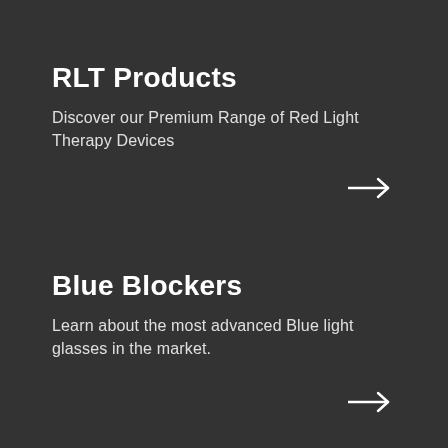RLT Products
Discover our Premium Range of Red Light Therapy Devices
[Figure (illustration): Right-pointing arrow icon]
Blue Blockers
Learn about the most advanced Blue light glasses in the market.
[Figure (illustration): Right-pointing arrow icon]